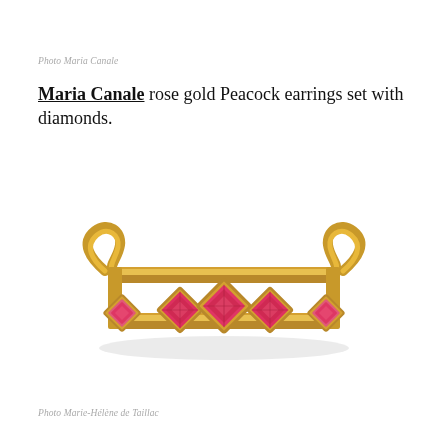Photo Maria Canale
Maria Canale rose gold Peacock earrings set with diamonds.
[Figure (photo): A gold cuff bracelet with pink/red diamond-shaped gemstones set along the band, photographed on a white background.]
Photo Marie-Hélène de Taillac